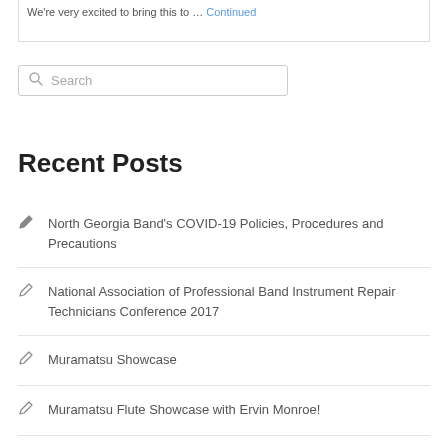We're very excited to bring this to … Continued
Recent Posts
North Georgia Band's COVID-19 Policies, Procedures and Precautions
National Association of Professional Band Instrument Repair Technicians Conference 2017
Muramatsu Showcase
Muramatsu Flute Showcase with Ervin Monroe!
Spa Day